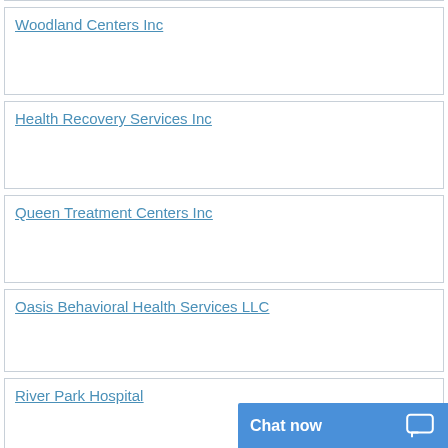Woodland Centers Inc
Health Recovery Services Inc
Queen Treatment Centers Inc
Oasis Behavioral Health Services LLC
River Park Hospital